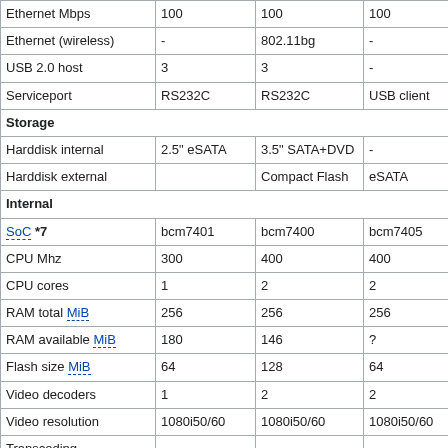|  | Col1 | Col2 | Col3 | Col4 |
| --- | --- | --- | --- | --- |
| Ethernet Mbps | 100 | 100 | 100 | 100 |
| Ethernet (wireless) | - | 802.11bg | - | - |
| USB 2.0 host | 3 | 3 | - | 2 |
| Serviceport | RS232C | RS232C | USB client | USB... |
| Storage |  |  |  |  |
| Harddisk internal | 2.5" eSATA | 3.5" SATA+DVD | - | 2.5"... |
| Harddisk external |  | Compact Flash | eSATA | eSA... |
| Internal |  |  |  |  |
| SoC *7 | bcm7401 | bcm7400 | bcm7405 | bcm... |
| CPU Mhz | 300 | 400 | 400 | 400 |
| CPU cores | 1 | 2 | 2 | 2 |
| RAM total MiB | 256 | 256 | 256 | 256 |
| RAM available MiB | 180 | 146 | ? | 132 |
| Flash size MiB | 64 | 128 | 64 | 64 |
| Video decoders | 1 | 2 | 2 | 2 |
| Video resolution | 1080i50/60 | 1080i50/60 | 1080i50/60 | 1080... |
| Transcoding | - | - | - | - |
| Video codecs *4 |  | mpeg4vc | mpeg4vc | mpe... |
| Audio codecs *5 |  |  |  |  |
| PiP | - | full | limited *6 | limit... |
| Linux kernel | 2.6.18... | 2.6... | 2.6... | 2.6... |